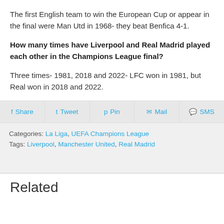The first English team to win the European Cup or appear in the final were Man Utd in 1968- they beat Benfica 4-1.
How many times have Liverpool and Real Madrid played each other in the Champions League final?
Three times- 1981, 2018 and 2022- LFC won in 1981, but Real won in 2018 and 2022.
Share | Tweet | Pin | Mail | SMS
Categories: La Liga, UEFA Champions League
Tags: Liverpool, Manchester United, Real Madrid
Related